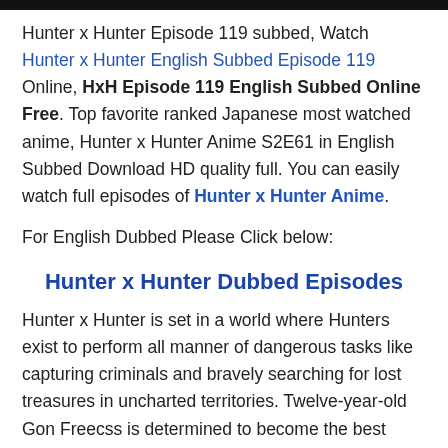[Figure (other): Black horizontal bar at top of page]
Hunter x Hunter Episode 119 subbed, Watch Hunter x Hunter English Subbed Episode 119 Online, HxH Episode 119 English Subbed Online Free. Top favorite ranked Japanese most watched anime, Hunter x Hunter Anime S2E61 in English Subbed Download HD quality full. You can easily watch full episodes of Hunter x Hunter Anime.
For English Dubbed Please Click below:
Hunter x Hunter Dubbed Episodes
Hunter x Hunter is set in a world where Hunters exist to perform all manner of dangerous tasks like capturing criminals and bravely searching for lost treasures in uncharted territories. Twelve-year-old Gon Freecss is determined to become the best Hunter possible in hopes